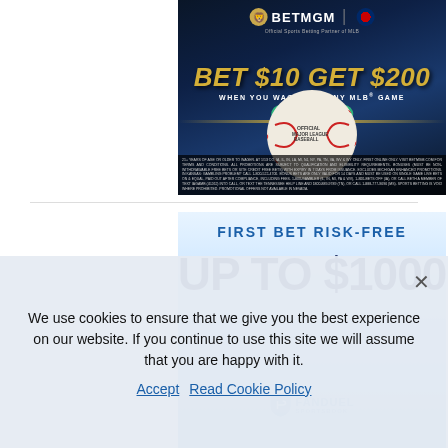[Figure (photo): BetMGM advertisement: dark blue background with stadium lighting, baseball in foreground on green grass. Text reads BET $10 GET $200 WHEN YOU WAGER ON ANY MLB GAME with a green BET NOW button. BetMGM logo and MLB logo at top. Fine print disclaimer at bottom.]
[Figure (photo): FanDuel Sportsbook advertisement: light blue gradient background. Text reads FIRST BET RISK-FREE UP TO $1000. FanDuel Sportsbook logo at bottom center, partially visible.]
We use cookies to ensure that we give you the best experience on our website. If you continue to use this site we will assume that you are happy with it.
Accept   Read Cookie Policy